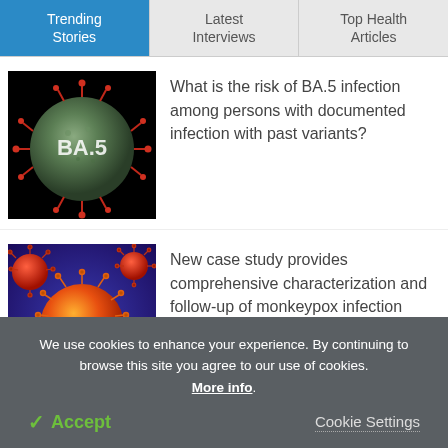Trending Stories | Latest Interviews | Top Health Articles
[Figure (photo): Close-up illustration of BA.5 coronavirus variant on black background, green-grey sphere with red spike proteins]
What is the risk of BA.5 infection among persons with documented infection with past variants?
[Figure (photo): Illustration of monkeypox virus particles — orange spherical cells with spikes on purple background]
New case study provides comprehensive characterization and follow-up of monkeypox infection
We use cookies to enhance your experience. By continuing to browse this site you agree to our use of cookies. More info.
✓ Accept
Cookie Settings